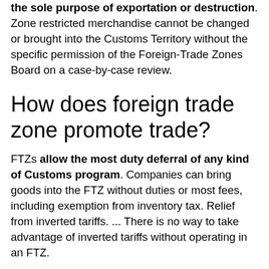the sole purpose of exportation or destruction. Zone restricted merchandise cannot be changed or brought into the Customs Territory without the specific permission of the Foreign-Trade Zones Board on a case-by-case review.
How does foreign trade zone promote trade?
FTZs allow the most duty deferral of any kind of Customs program. Companies can bring goods into the FTZ without duties or most fees, including exemption from inventory tax. Relief from inverted tariffs. ... There is no way to take advantage of inverted tariffs without operating in an FTZ.